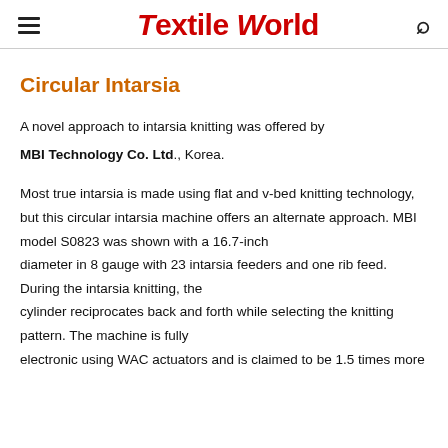Textile World
Circular Intarsia
A novel approach to intarsia knitting was offered by MBI Technology Co. Ltd., Korea. Most true intarsia is made using flat and v-bed knitting technology, but this circular intarsia machine offers an alternate approach. MBI model S0823 was shown with a 16.7-inch diameter in 8 gauge with 23 intarsia feeders and one rib feed. During the intarsia knitting, the cylinder reciprocates back and forth while selecting the knitting pattern. The machine is fully electronic using WAC actuators and is claimed to be 1.5 times more